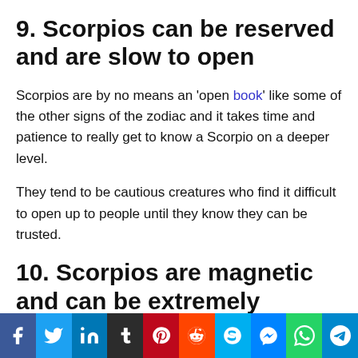9. Scorpios can be reserved and are slow to open
Scorpios are by no means an 'open book' like some of the other signs of the zodiac and it takes time and patience to really get to know a Scorpio on a deeper level.
They tend to be cautious creatures who find it difficult to open up to people until they know they can be trusted.
10. Scorpios are magnetic and can be extremely seductive
Scorpios have a unique magnetic trait that intriques people
Social share bar: Facebook, Twitter, LinkedIn, Tumblr, Pinterest, Reddit, Skype, Messenger, WhatsApp, Telegram